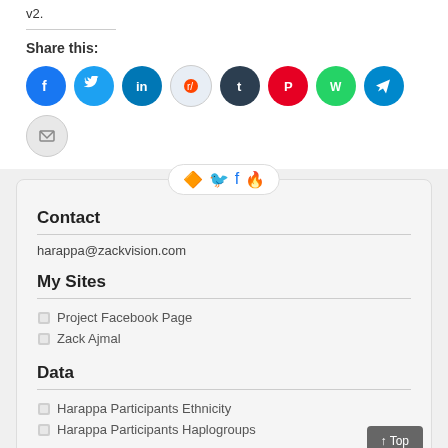v2.
Share this:
[Figure (infographic): Row of social media sharing icons: Facebook, Twitter, LinkedIn, Reddit, Tumblr, Pinterest, WhatsApp, Telegram, Email]
[Figure (infographic): Widget header with RSS, Twitter, Facebook, and another icon in a pill-shaped container]
Contact
harappa@zackvision.com
My Sites
Project Facebook Page
Zack Ajmal
Data
Harappa Participants Ethnicity
Harappa Participants Haplogroups